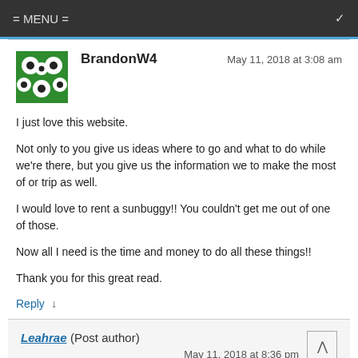= MENU =
BrandonW4   May 11, 2018 at 3:08 am
I just love this website.
Not only to you give us ideas where to go and what to do while we're there, but you give us the information we to make the most of or trip as well.
I would love to rent a sunbuggy!! You couldn't get me out of one of those.
Now all I need is the time and money to do all these things!!
Thank you for this great read.
Reply ↓
Leahrae (Post author)
May 11, 2018 at 8:36 pm